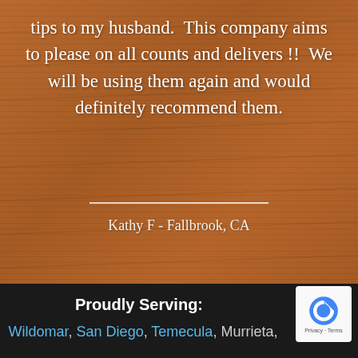tips to my husband.  This company aims to please on all counts and delivers !!  We will be using them again and would definitely recommend them.
Kathy F - Fallbrook, CA
Proudly Serving:
Wildomar, San Diego, Temecula, Murrieta,